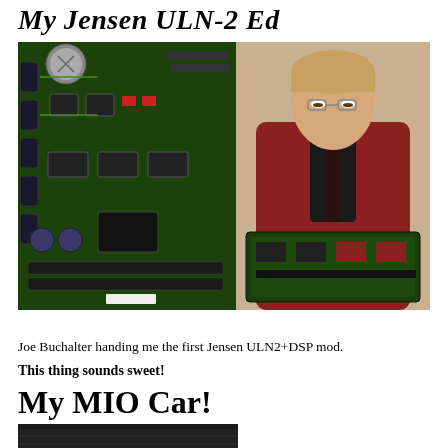My Jensen ULN-2 Ed
[Figure (photo): Left: close-up of a green PCB circuit board (Jensen ULN2+DSP mod). Right: Joe Buchalter holding the circuit board mod, wearing a red fleece jacket.]
Joe Buchalter handing me the first Jensen ULN2+DSP mod.
This thing sounds sweet!
My MIO Car!
[Figure (photo): Partial view of a dark-colored device or car component at the bottom of the page.]